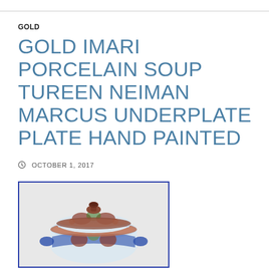GOLD
GOLD IMARI PORCELAIN SOUP TUREEN NEIMAN MARCUS UNDERPLATE PLATE HAND PAINTED
OCTOBER 1, 2017
[Figure (photo): A hand-painted Gold Imari porcelain soup tureen with lid, decorated with floral patterns in blue, red/brown, and green on white background, with ornate handles, shown against a light background. Blue border around image.]